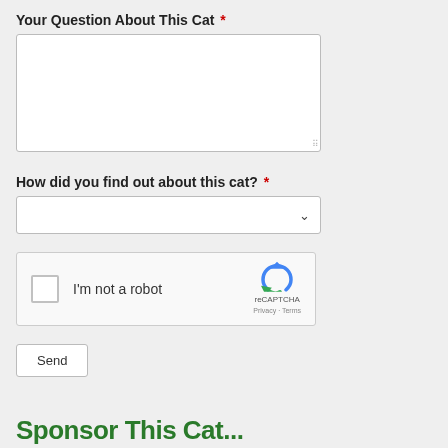Your Question About This Cat *
[Figure (screenshot): Text area input box for typing a question about the cat]
How did you find out about this cat? *
[Figure (screenshot): Dropdown select box with chevron arrow indicator]
[Figure (screenshot): reCAPTCHA widget with checkbox labeled 'I'm not a robot' and reCAPTCHA logo with Privacy and Terms links]
[Figure (screenshot): Send button]
Sponsor This Cat...